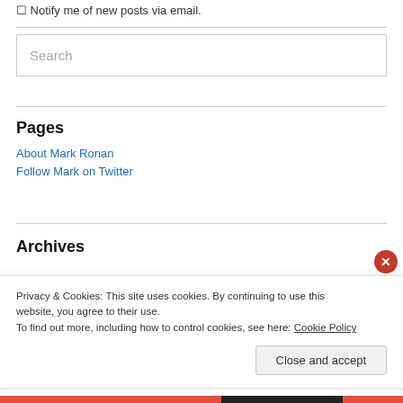Notify me of new posts via email.
Search
Pages
About Mark Ronan
Follow Mark on Twitter
Archives
Privacy & Cookies: This site uses cookies. By continuing to use this website, you agree to their use. To find out more, including how to control cookies, see here: Cookie Policy
Close and accept